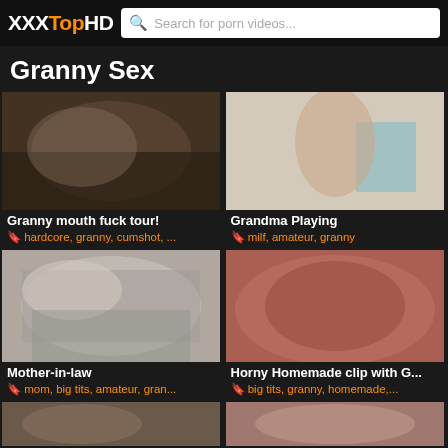XXXTopHD — Search for porn videos...
Granny Sex
[Figure (screenshot): Thumbnail 1: elderly woman performing oral sex]
Granny mouth fuck tour!
hardcore, granny, cumshot, ...
[Figure (screenshot): Thumbnail 2: elderly blonde woman standing nude indoors]
Grandma Playing
milf, amateur, granny
[Figure (screenshot): Thumbnail 3: older woman in patterned shirt]
Mother-in-law
mom, big tits, amateur, gran...
[Figure (screenshot): Thumbnail 4: close-up explicit content]
Horny Homemade clip with G...
big tits, granny, homemade,...